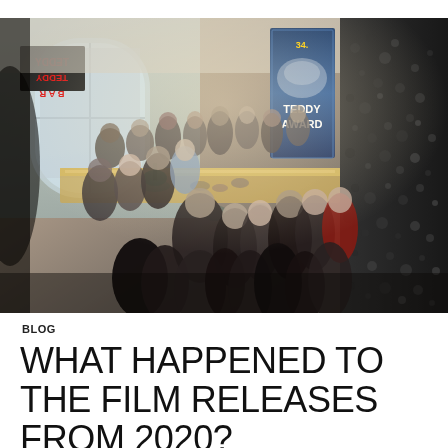[Figure (photo): Interior photo of a crowded event venue/bar with people gathered around a buffet counter. A banner in the background reads '34. TEDDY AWARD'. A sign on the left wall reads 'TEDDY BAR' (mirrored/reflected). The scene shows warm lighting with a green lamp visible, and decorative wall art on the right side.]
BLOG
WHAT HAPPENED TO THE FILM RELEASES FROM 2020?